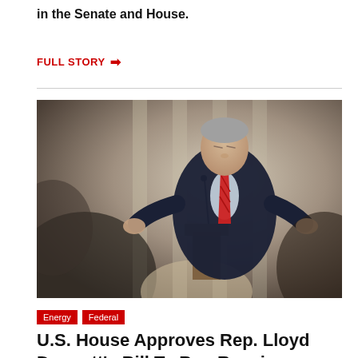in the Senate and House.
FULL STORY →
[Figure (photo): A man in a dark suit with a red striped tie stands at a podium speaking, gesturing with both hands. He has gray hair and appears to be addressing an audience. The background shows blurred columns. Audience members are visible in the foreground, blurred.]
Energy
Federal
U.S. House Approves Rep. Lloyd Doggett's Bill To Ban Russian Energy I...